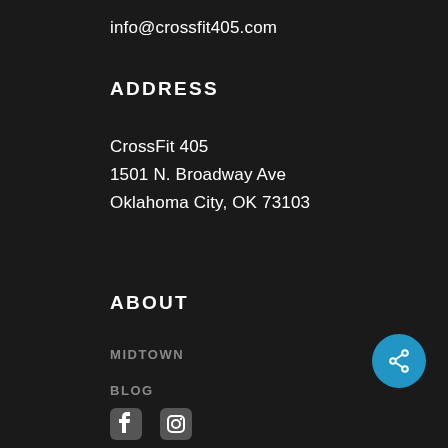info@crossfit405.com
ADDRESS
CrossFit 405
1501 N. Broadway Ave
Oklahoma City, OK 73103
ABOUT
MIDTOWN
BLOG
[Figure (illustration): Blue circular share button with share icon]
[Figure (illustration): Social media icons at bottom: Facebook and Instagram]